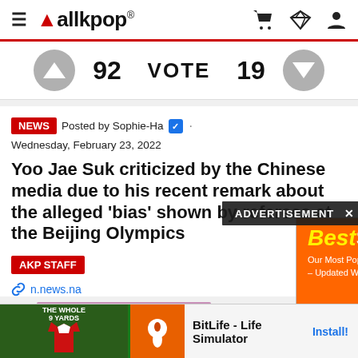allkpop
92 VOTE 19
NEWS · Posted by Sophie-Ha ✓ · Wednesday, February 23, 2022
Yoo Jae Suk criticized by the Chinese media due to his recent remark about the alleged 'bias' shown by referees at the Beijing Olympics
AKP STAFF
n.news.na
[Figure (screenshot): ADVERTISEMENT overlay and AliExpress BestSelling ad banner]
[Figure (screenshot): Bottom banner ad: The Whole 9 Yards app icon, BitLife Life Simulator app with Install button]